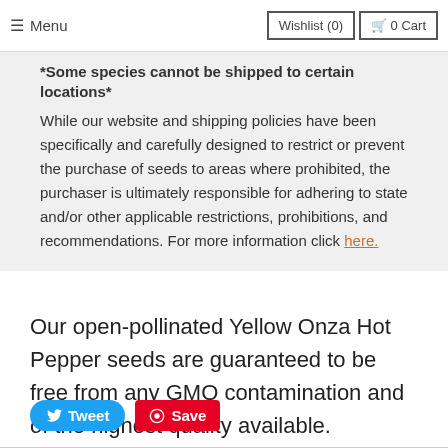Menu | Wishlist (0) | 0 Cart
*Some species cannot be shipped to certain locations* While our website and shipping policies have been specifically and carefully designed to restrict or prevent the purchase of seeds to areas where prohibited, the purchaser is ultimately responsible for adhering to state and/or other applicable restrictions, prohibitions, and recommendations. For more information click here.
Our open-pollinated Yellow Onza Hot Pepper seeds are guaranteed to be free from any GMO contamination and of the highest quality available.
[Figure (other): Tweet and Save social media share buttons]